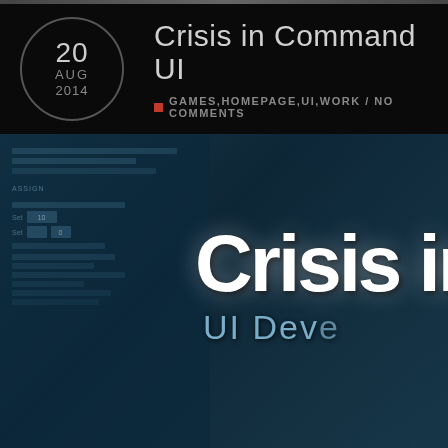Crisis in Command UI
GAMES,HOMEPAGE,UI,WORK / NO COMMENTS
[Figure (screenshot): Screenshot of Crisis in Command UI development — shows a dark teal/blue game UI interface with the text 'Crisis in C' and 'UI Deve' overlay in large white letters, with faint UI panel rows on the left side and a blurred soldier silhouette in the background.]